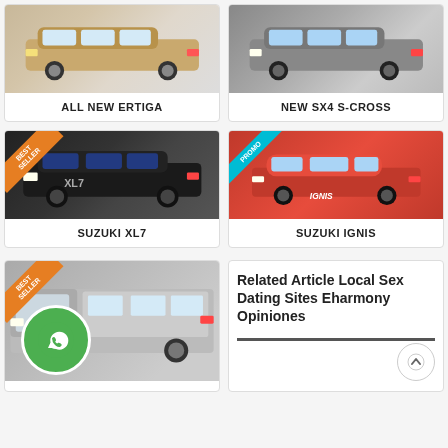[Figure (photo): ALL NEW ERTIGA car product card with car image]
ALL NEW ERTIGA
[Figure (photo): NEW SX4 S-CROSS car product card with car image]
NEW SX4 S-CROSS
[Figure (photo): SUZUKI XL7 car product card with BEST SELLER badge]
SUZUKI XL7
[Figure (photo): SUZUKI IGNIS car product card with PROMO badge, orange car]
SUZUKI IGNIS
[Figure (photo): Bottom car product card with BEST SELLER badge and WhatsApp icon overlay]
Related Article Local Sex Dating Sites Eharmony Opiniones